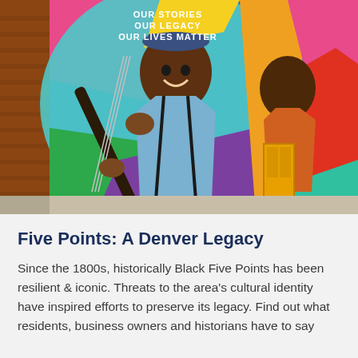[Figure (photo): A colorful mural on the exterior wall of a brick building in Denver's Five Points neighborhood. The mural features a large figure of an older Black man smiling and holding a bass guitar, painted in vibrant blues, pinks, greens, yellows, and purples. White text at the top reads 'OUR STORIES OUR LEGACY OUR LIVES MATTER'. The sky in the background is bright blue.]
Five Points: A Denver Legacy
Since the 1800s, historically Black Five Points has been resilient & iconic. Threats to the area's cultural identity have inspired efforts to preserve its legacy. Find out what residents, business owners and historians have to say